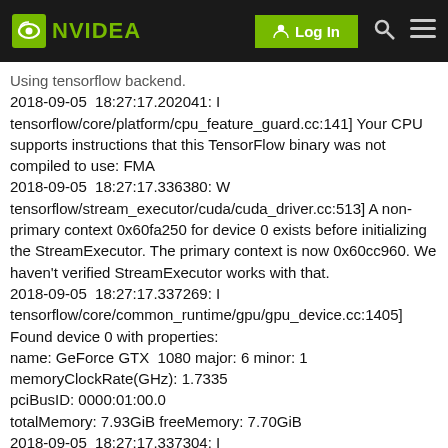NVIDIA | Log In
Using tensorflow backend.
2018-09-05 18:27:17.202041: I tensorflow/core/platform/cpu_feature_guard.cc:141] Your CPU supports instructions that this TensorFlow binary was not compiled to use: FMA
2018-09-05 18:27:17.336380: W tensorflow/stream_executor/cuda/cuda_driver.cc:513] A non-primary context 0x60fa250 for device 0 exists before initializing the StreamExecutor. The primary context is now 0x60cc960. We haven't verified StreamExecutor works with that.
2018-09-05 18:27:17.337269: I tensorflow/core/common_runtime/gpu/gpu_device.cc:1405] Found device 0 with properties:
name: GeForce GTX 1080 major: 6 minor: 1
memoryClockRate(GHz): 1.7335
pciBusID: 0000:01:00.0
totalMemory: 7.93GiB freeMemory: 7.70GiB
2018-09-05 18:27:17.337304: I